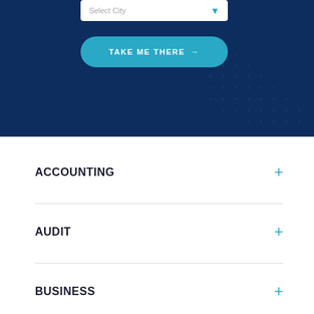[Figure (screenshot): Dark navy blue UI section with a 'Select City' dropdown box and a teal 'TAKE ME THERE →' button, with decorative dot pattern in bottom right]
ACCOUNTING +
AUDIT +
BUSINESS +